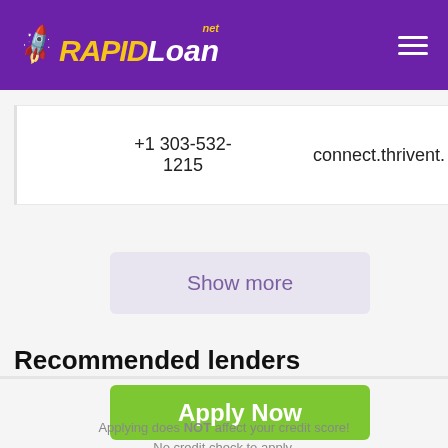RAPIDLoan.net
+1 303-532-1215   connect.thrivent.
Show more
Recommended lenders
Apply Now
Applying does NOT affect your credit score! No credit check to apply.